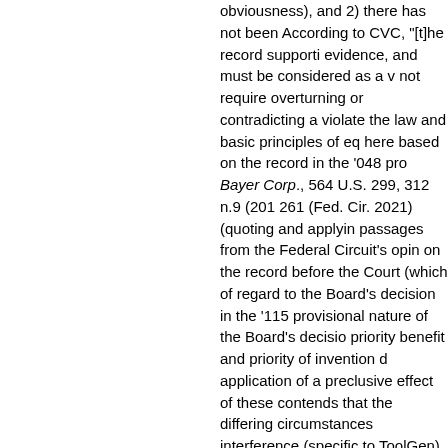obviousness), and 2) there has not been According to CVC, "[t]he record supporti evidence, and must be considered as a v not require overturning or contradicting a violate the law and basic principles of eq here based on the record in the '048 pro Bayer Corp., 564 U.S. 299, 312 n.9 (201 261 (Fed. Cir. 2021) (quoting and applyin passages from the Federal Circuit's opin on the record before the Court (which of regard to the Board's decision in the '115 provisional nature of the Board's decisio priority benefit and priority of invention d application of a preclusive effect of these contends that the differing circumstances interference (specific to ToolGen) should applying preclusion against CVC here.
On the substantive merits, CVC argues t contained in P2 and P3, is sufficient to sa practice of at least one embodiment falli Count, in view of the high level of skill in CVC's inventors and other groups (inclu achieved CRISPR-mediated DNA cleava